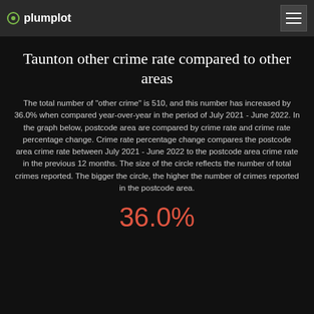plumplot
Taunton other crime rate compared to other areas
The total number of "other crime" is 510, and this number has increased by 36.0% when compared year-over-year in the period of July 2021 - June 2022. In the graph below, postcode area are compared by crime rate and crime rate percentage change. Crime rate percentage change compares the postcode area crime rate between July 2021 - June 2022 to the postcode area crime rate in the previous 12 months. The size of the circle reflects the number of total crimes reported. The bigger the circle, the higher the number of crimes reported in the postcode area.
36.0%